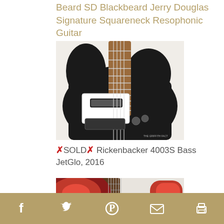Beard SD Blackbeard Jerry Douglas Signature Squareneck Resophonic Guitar
[Figure (photo): Close-up photo of a black Rickenbacker 4003S Bass guitar body showing white pickguard, two pickups, strings, and a wood fretboard against a light background. Watermark visible in bottom right corner.]
✗SOLD✗ Rickenbacker 4003S Bass JetGlo, 2016
[Figure (photo): Partial photo of a red sunburst electric guitar showing the headstock area and upper bout against a light background.]
Social share icons: Facebook, Twitter, Pinterest, Email, Print